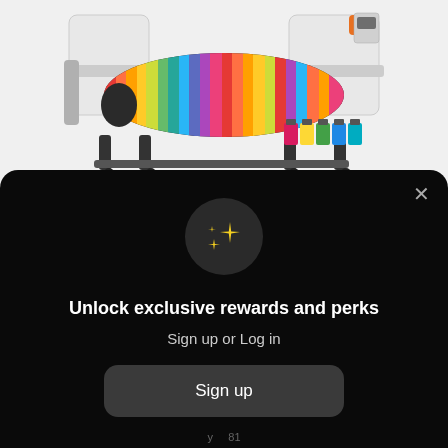[Figure (photo): Large format HP printer/plotter with colorful printed material (multicolored feather-like pattern in red, orange, yellow, pink, blue, green) feeding through it. Ink cartridges visible at the bottom right. White background.]
Unlock exclusive rewards and perks
Sign up or Log in
Sign up
Already have an account? Sign in